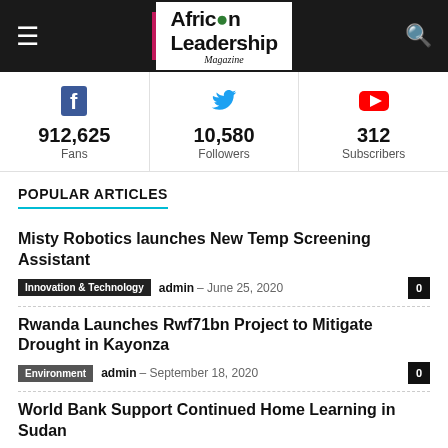African Leadership Magazine
[Figure (infographic): Social media stats: Facebook 912,625 Fans, Twitter 10,580 Followers, YouTube 312 Subscribers]
POPULAR ARTICLES
Misty Robotics launches New Temp Screening Assistant
Innovation & Technology  admin  -  June 25, 2020  0
Rwanda Launches Rwf71bn Project to Mitigate Drought in Kayonza
Environment  admin  -  September 18, 2020  0
World Bank Support Continued Home Learning in Sudan